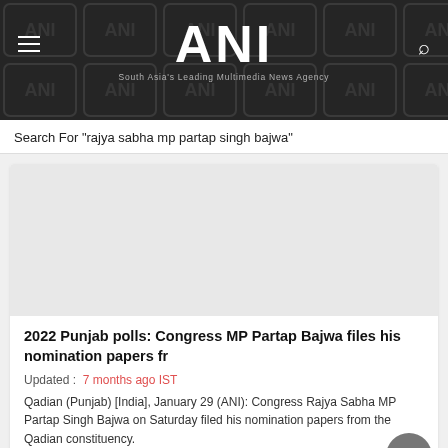ANI — South Asia's Leading Multimedia News Agency
Search For "rajya sabha mp partap singh bajwa"
[Figure (photo): Article image placeholder (white/light grey rectangle)]
2022 Punjab polls: Congress MP Partap Bajwa files his nomination papers fr
Updated :  7 months ago IST
Qadian (Punjab) [India], January 29 (ANI): Congress Rajya Sabha MP Partap Singh Bajwa on Saturday filed his nomination papers from the Qadian constituency.
Read More